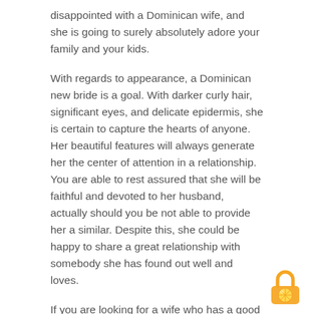disappointed with a Dominican wife, and she is going to surely absolutely adore your family and your kids.
With regards to appearance, a Dominican new bride is a goal. With darker curly hair, significant eyes, and delicate epidermis, she is certain to capture the hearts of anyone. Her beautiful features will always generate her the center of attention in a relationship. You are able to rest assured that she will be faithful and devoted to her husband, actually should you be not able to provide her a similar. Despite this, she could be happy to share a great relationship with somebody she has found out well and loves.
If you are looking for a wife who has a good spontaneity, a Dominican all mail order star of the event may be only the one for yourself. Their
[Figure (logo): Orange lemon/citrus padlock logo icon in yellow and orange colors]